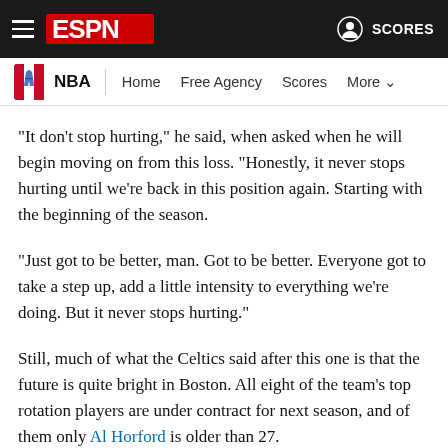ESPN — NBA Navigation: Home, Free Agency, Scores, More
"It don't stop hurting," he said, when asked when he will begin moving on from this loss. "Honestly, it never stops hurting until we're back in this position again. Starting with the beginning of the season.
"Just got to be better, man. Got to be better. Everyone got to take a step up, add a little intensity to everything we're doing. But it never stops hurting."
Still, much of what the Celtics said after this one is that the future is quite bright in Boston. All eight of the team's top rotation players are under contract for next season, and of them only Al Horford is older than 27.